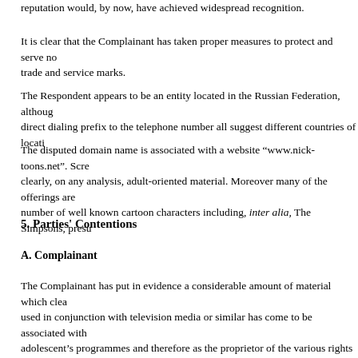reputation would, by now, have achieved widespread recognition.
It is clear that the Complainant has taken proper measures to protect and serve no trade and service marks.
The Respondent appears to be an entity located in the Russian Federation, although direct dialing prefix to the telephone number all suggest different countries of locati…
The disputed domain name is associated with a website “www.nick-toons.net”. Scr clearly, on any analysis, adult-oriented material. Moreover many of the offerings are number of well known cartoon characters including, inter alia, The Simpsons, presu…
5. Parties' Contentions
A. Complainant
The Complainant has put in evidence a considerable amount of material which clea used in conjunction with television media or similar has come to be associated with adolescent’s programmes and therefore as the proprietor of the various rights that and at common law. This is especially so in relation to the children’s and adolescen entitled to do.
The Complainant contends that the Respondent, by adopting the same or similar m goodwill to attract business. Further, the Respondent is damaging the goodwill of th also by unsavoury association.
B. Respondent
Because the Respondent has defaulted it has not put before the Panel any evidenc…
Nevertheless, the Respondent operates a live website associated with the dispute…